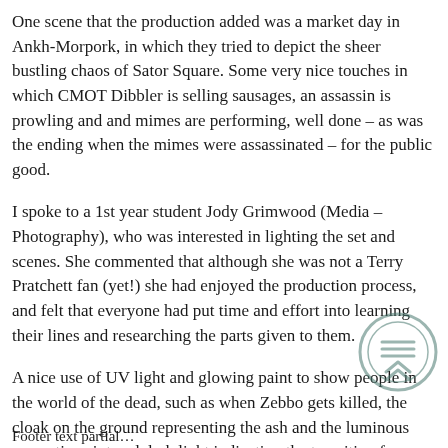One scene that the production added was a market day in Ankh-Morpork, in which they tried to depict the sheer bustling chaos of Sator Square. Some very nice touches in which CMOT Dibbler is selling sausages, an assassin is prowling and and mimes are performing, well done – as was the ending when the mimes were assassinated – for the public good.
I spoke to a 1st year student Jody Grimwood (Media – Photography), who was interested in lighting the set and scenes. She commented that although she was not a Terry Pratchett fan (yet!) she had enjoyed the production process, and felt that everyone had put time and effort into learning their lines and researching the parts given to them.
A nice use of UV light and glowing paint to show people in the world of the dead, such as when Zebbo gets killed, the cloak on the ground representing the ash and the luminous cosmetic paint and dark light indicating the transition from life to death
Footer text partial